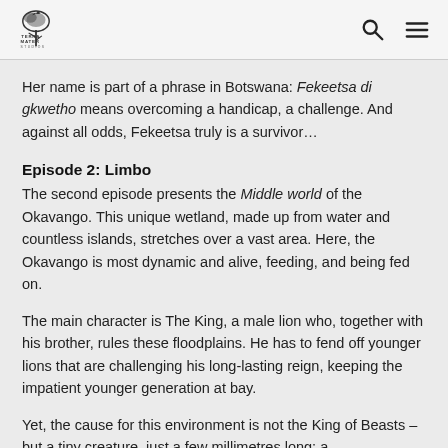Terra Mater Studios
Her name is part of a phrase in Botswana: Fekeetsa di gkwetho means overcoming a handicap, a challenge. And against all odds, Fekeetsa truly is a survivor…
Episode 2: Limbo
The second episode presents the Middle world of the Okavango. This unique wetland, made up from water and countless islands, stretches over a vast area. Here, the Okavango is most dynamic and alive, feeding, and being fed on.
The main character is The King, a male lion who, together with his brother, rules these floodplains. He has to fend off younger lions that are challenging his long-lasting reign, keeping the impatient younger generation at bay.
Yet, the cause for this environment is not the King of Beasts – but a tiny creature, just a few millimetres long: a